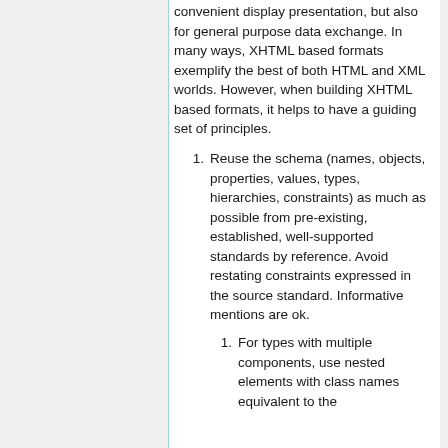convenient display presentation, but also for general purpose data exchange. In many ways, XHTML based formats exemplify the best of both HTML and XML worlds. However, when building XHTML based formats, it helps to have a guiding set of principles.
Reuse the schema (names, objects, properties, values, types, hierarchies, constraints) as much as possible from pre-existing, established, well-supported standards by reference. Avoid restating constraints expressed in the source standard. Informative mentions are ok.
For types with multiple components, use nested elements with class names equivalent to the